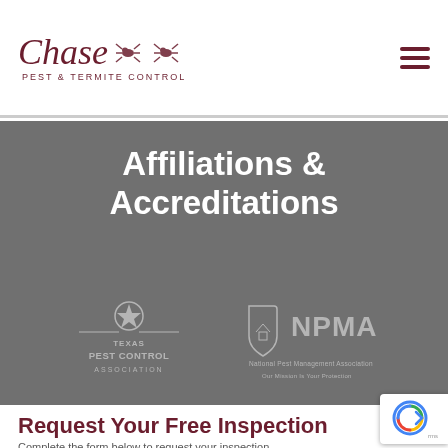Chase Pest & Termite Control — logo and navigation header
Affiliations & Accreditations
[Figure (logo): Texas Pest Control Association logo — star emblem above text reading TEXAS PEST CONTROL ASSOCIATION in gray]
[Figure (logo): NPMA (National Pest Management Association) logo — shield icon with house emblem and text NPMA National Pest Management Association Our Mission Is Your Protection in gray]
Request Your Free Inspection
Complete the form below to request your inspection